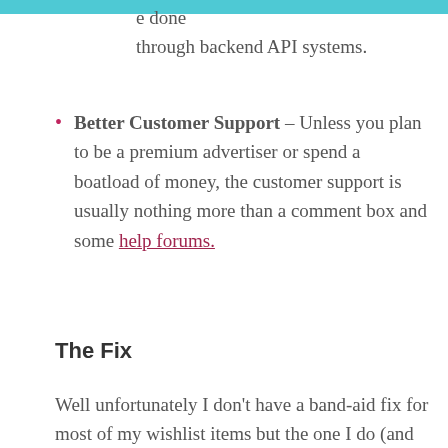e done through backend API systems.
Better Customer Support – Unless you plan to be a premium advertiser or spend a boatload of money, the customer support is usually nothing more than a comment box and some help forums.
The Fix
Well unfortunately I don't have a band-aid fix for most of my wishlist items but the one I do (and in my opinion the most important one) is tracking.